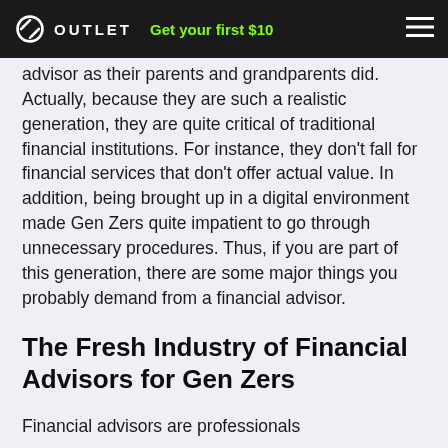OUTLET   Get your first $10
advisor as their parents and grandparents did. Actually, because they are such a realistic generation, they are quite critical of traditional financial institutions. For instance, they don't fall for financial services that don't offer actual value. In addition, being brought up in a digital environment made Gen Zers quite impatient to go through unnecessary procedures. Thus, if you are part of this generation, there are some major things you probably demand from a financial advisor.
The Fresh Industry of Financial Advisors for Gen Zers
Financial advisors are professionals